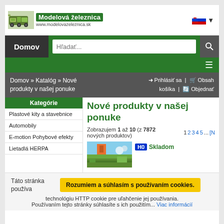[Figure (logo): Modelová železnica logo with train image and green text, www.modelovazeleznica.sk]
[Figure (illustration): Slovak flag with dropdown arrow]
Domov
Hľadať...
≡
Domov » Katalóg » Nové produkty v našej ponuke
➡ Prihlásiť sa | 🛒 Obsah košíka | 🔄 Objednať
Kategórie
Plastové kity a stavebnice
Automobily
E-motion Pohybové efekty
Lietadlá HERPA
Nové produkty v našej ponuke
Zobrazujem 1 až 10 (z 7872 nových produktov)
1 2 3 4 5 ... [N
[Figure (photo): Product thumbnail showing landscape scene]
H0   Skladom
Táto stránka používa technológiu HTTP cookie pre uľahčenie jej používania. Používaním tejto stránky súhlasíte s ich použitím... Viac informácií
Rozumiem a súhlasím s používaním cookies.